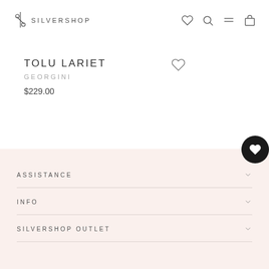SILVERSHOP
TOLU LARIET
GEORGINI
$229.00
ASSISTANCE
INFO
SILVERSHOP OUTLET